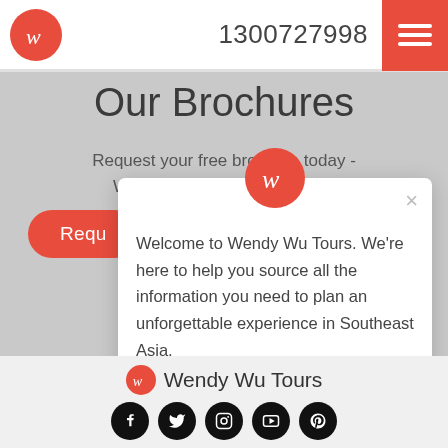1300727998
Our Brochures
Request your free brochure today - Where will you choose to go?
[Figure (screenshot): Chat popup with Wendy Wu Tours logo, close button (×), and text: Welcome to Wendy Wu Tours. We're here to help you source all the information you need to plan an unforgettable experience in Southeast Asia.]
[Figure (logo): Wendy Wu Tours footer logo with brand name and social media icons (Facebook, Twitter, Instagram, YouTube, Pinterest) and teal chat button]